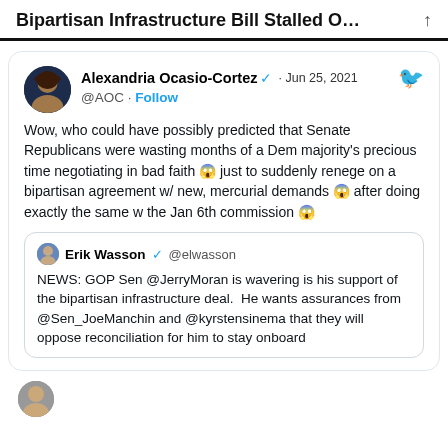Bipartisan Infrastructure Bill Stalled O…
Alexandria Ocasio-Cortez ✓ · Jun 25, 2021
@AOC · Follow
Wow, who could have possibly predicted that Senate Republicans were wasting months of a Dem majority's precious time negotiating in bad faith 😱 just to suddenly renege on a bipartisan agreement w/ new, mercurial demands 😱 after doing exactly the same w the Jan 6th commission 😱
Erik Wasson ✓ @elwasson
NEWS: GOP Sen @JerryMoran is wavering is his support of the bipartisan infrastructure deal. He wants assurances from @Sen_JoeManchin and @kyrstensinema that they will oppose reconciliation for him to stay onboard